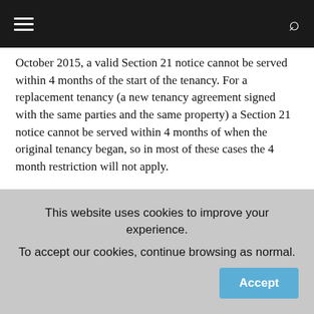Navigation bar with menu and search icons
October 2015, a valid Section 21 notice cannot be served within 4 months of the start of the tenancy. For a replacement tenancy (a new tenancy agreement signed with the same parties and the same property) a Section 21 notice cannot be served within 4 months of when the original tenancy began, so in most of these cases the 4 month restriction will not apply.
6 month rule – when a Section 21 notice has been served under a fixed term AST or a periodic AST which runs from
This website uses cookies to improve your experience. To accept our cookies, continue browsing as normal.